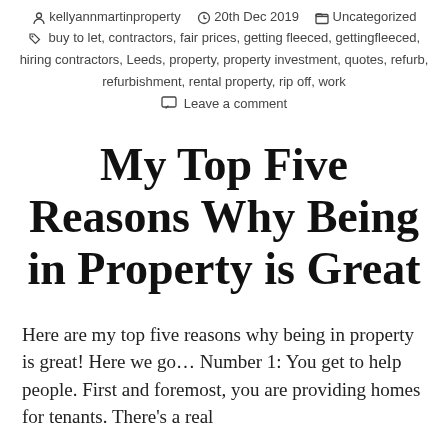kellyannmartinproperty  20th Dec 2019  Uncategorized
buy to let, contractors, fair prices, getting fleeced, gettingfleeced, hiring contractors, Leeds, property, property investment, quotes, refurb, refurbishment, rental property, rip off, work
Leave a comment
My Top Five Reasons Why Being in Property is Great
Here are my top five reasons why being in property is great! Here we go… Number 1: You get to help people. First and foremost, you are providing homes for tenants. There's a real